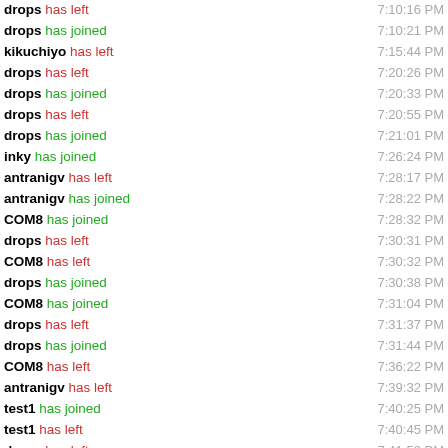drops has left 7:10:16 PM
drops has joined 7:10:21 PM
kikuchiyo has left 7:15:44 PM
drops has left 7:20:26 PM
drops has joined 7:20:33 PM
drops has left 7:20:55 PM
drops has joined 7:21:01 PM
inky has joined 7:26:24 PM
antranigv has left 7:28:17 PM
antranigv has joined 7:28:22 PM
COM8 has joined 7:28:32 PM
drops has left 7:30:31 PM
COM8 has left 7:30:32 PM
drops has joined 7:30:38 PM
COM8 has joined 7:31:04 PM
drops has left 7:31:37 PM
drops has joined 7:31:44 PM
COM8 has left 7:36:22 PM
antranigv has left 7:39:32 PM
test1 has joined 7:40:25 PM
test1 has left 7:40:45 PM
drops has left 7:41:58 PM
PapaTutuWawa has joined 7:42:17 PM
Kev has left 7:44:09 PM
Kev has joined 7:44:?? PM